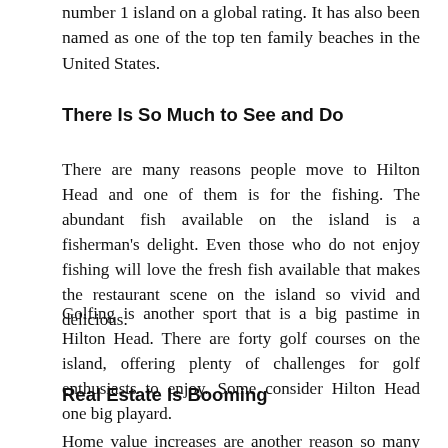number 1 island on a global rating. It has also been named as one of the top ten family beaches in the United States.
There Is So Much to See and Do
There are many reasons people move to Hilton Head and one of them is for the fishing. The abundant fish available on the island is a fisherman's delight. Even those who do not enjoy fishing will love the fresh fish available that makes the restaurant scene on the island so vivid and delicious.
Golfing is another sport that is a big pastime in Hilton Head. There are forty golf courses on the island, offering plenty of challenges for golf enthusiasts to enjoy. Some consider Hilton Head one big playard.
Real Estate Is Booming
Home value increases are another reason so many people